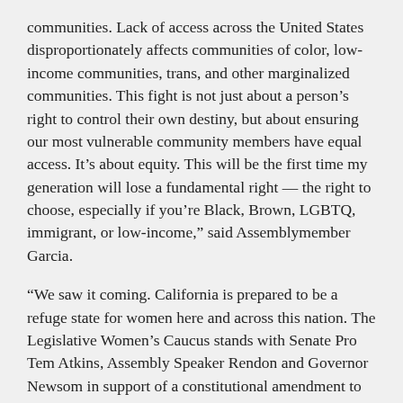communities. Lack of access across the United States disproportionately affects communities of color, low-income communities, trans, and other marginalized communities. This fight is not just about a person’s right to control their own destiny, but about ensuring our most vulnerable community members have equal access. It’s about equity. This will be the first time my generation will lose a fundamental right — the right to choose, especially if you’re Black, Brown, LGBTQ, immigrant, or low-income,” said Assemblymember Garcia.
“We saw it coming. California is prepared to be a refuge state for women here and across this nation. The Legislative Women’s Caucus stands with Senate Pro Tem Atkins, Assembly Speaker Rendon and Governor Newsom in support of a constitutional amendment to enshrine reproductive rights for all in California. We will be the national beacon for reproductive justice,” Assemblymember Garcia added.
“Unlike women before me, I grew up without having to face the choice of a back-alley abortion. I am outraged to learn that what we have feared is all too likely to come true: Millions of